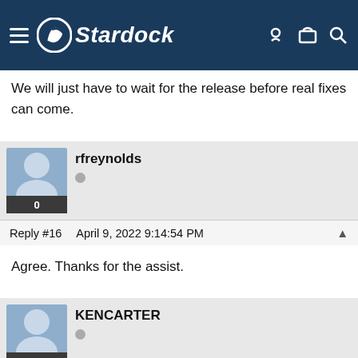Stardock
We will just have to wait for the release before real fixes can come.
rfreynolds
Reply #16   April 9, 2022 9:14:54 PM
Agree. Thanks for the assist.
KENCARTER
Reply #17   April 30, 2022 3:14:50 PM